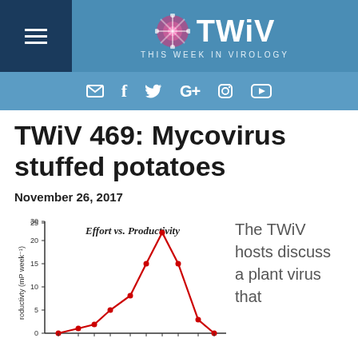TWiV – This Week in Virology
TWiV 469: Mycovirus stuffed potatoes
November 26, 2017
[Figure (continuous-plot): Line chart titled 'Effort vs. Productivity' with y-axis labeled 'roductivty (mP week⁻¹)' ranging 0 to 30, showing a red line that peaks around 22.5 then drops back to 0.]
The TWiV hosts discuss a plant virus that